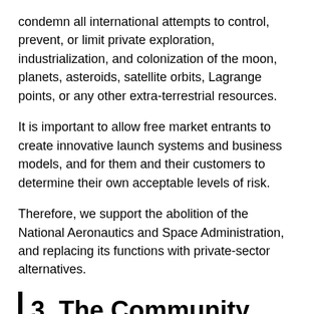condemn all international attempts to control, prevent, or limit private exploration, industrialization, and colonization of the moon, planets, asteroids, satellite orbits, Lagrange points, or any other extra-terrestrial resources.
It is important to allow free market entrants to create innovative launch systems and business models, and for them and their customers to determine their own acceptable levels of risk.
Therefore, we support the abolition of the National Aeronautics and Space Administration, and replacing its functions with private-sector alternatives.
3. The Community
Current problems in such areas as energy, pollution,